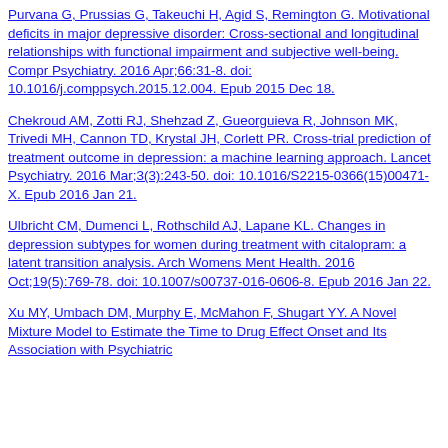Purvana G, Prussias G, Takeuchi H, Agid S, Remington G. Motivational deficits in major depressive disorder: Cross-sectional and longitudinal relationships with functional impairment and subjective well-being. Compr Psychiatry. 2016 Apr;66:31-8. doi: 10.1016/j.comppsych.2015.12.004. Epub 2015 Dec 18.
Chekroud AM, Zotti RJ, Shehzad Z, Gueorguieva R, Johnson MK, Trivedi MH, Cannon TD, Krystal JH, Corlett PR. Cross-trial prediction of treatment outcome in depression: a machine learning approach. Lancet Psychiatry. 2016 Mar;3(3):243-50. doi: 10.1016/S2215-0366(15)00471-X. Epub 2016 Jan 21.
Ulbricht CM, Dumenci L, Rothschild AJ, Lapane KL. Changes in depression subtypes for women during treatment with citalopram: a latent transition analysis. Arch Womens Ment Health. 2016 Oct;19(5):769-78. doi: 10.1007/s00737-016-0606-8. Epub 2016 Jan 22.
Xu MY, Umbach DM, Murphy E, McMahon F, Shugart YY. A Novel Mixture Model to Estimate the Time to Drug Effect Onset and Its Association with Psychiatric...